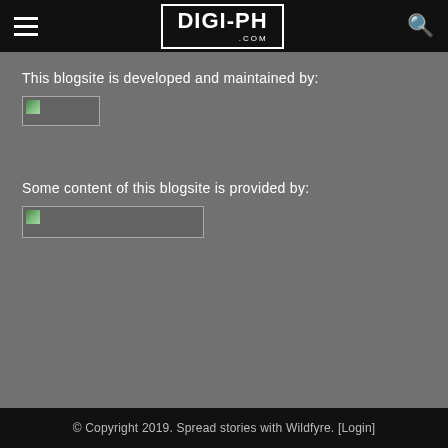DIGI-PH.COM
This blogsite is developed and maintained by:
[Figure (photo): Broken/missing image placeholder (small)]
Some content of this blogsite is provided by:
[Figure (photo): Broken/missing image placeholder (large)]
© Copyright 2019. Spread stories with Wildfyre. [Login]